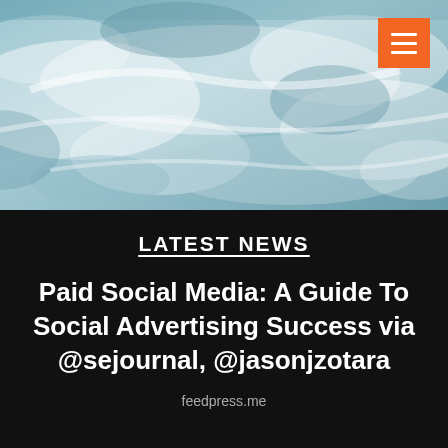[Figure (photo): Aerial/overhead view of ocean waves with blue-grey water and white foam]
LATEST NEWS
Paid Social Media: A Guide To Social Advertising Success via @sejournal, @jasonjzotara
feedpress.me